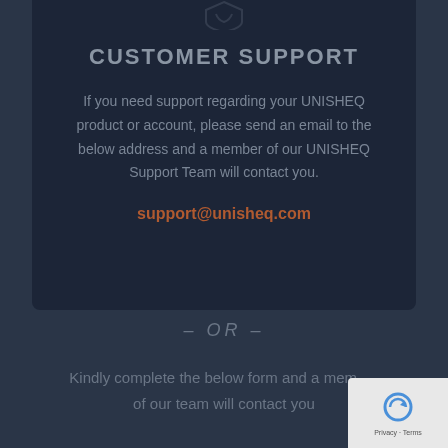[Figure (logo): UNISHEQ logo icon at top of card, stylized shield/letter shape, partially visible]
CUSTOMER SUPPORT
If you need support regarding your UNISHEQ product or account, please send an email to the below address and a member of our UNISHEQ Support Team will contact you.
support@unisheq.com
– OR –
Kindly complete the below form and a member of our team will contact you